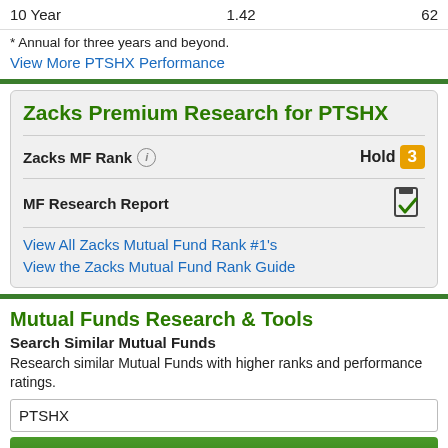| 10 Year | 1.42 | 62 |
* Annual for three years and beyond.
View More PTSHX Performance
Zacks Premium Research for PTSHX
Zacks MF Rank  Hold 3
MF Research Report
View All Zacks Mutual Fund Rank #1's
View the Zacks Mutual Fund Rank Guide
Mutual Funds Research & Tools
Search Similar Mutual Funds
Research similar Mutual Funds with higher ranks and performance ratings.
PTSHX
Find